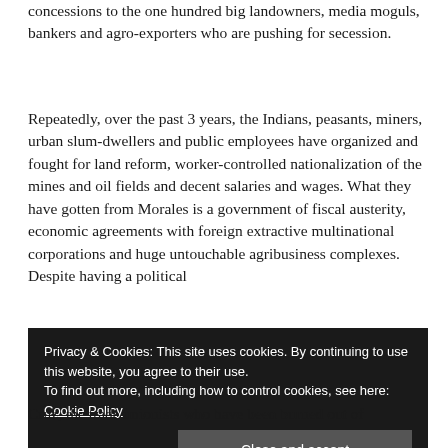concessions to the one hundred big landowners, media moguls, bankers and agro-exporters who are pushing for secession.
Repeatedly, over the past 3 years, the Indians, peasants, miners, urban slum-dwellers and public employees have organized and fought for land reform, worker-controlled nationalization of the mines and oil fields and decent salaries and wages. What they have gotten from Morales is a government of fiscal austerity, economic agreements with foreign extractive multinational corporations and huge untouchable agribusiness complexes. Despite having a political
Privacy & Cookies: This site uses cookies. By continuing to use this website, you agree to their use.
To find out more, including how to control cookies, see here: Cookie Policy
Cruz, the trade unionists who have been burned out of